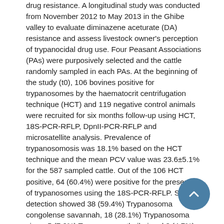drug resistance. A longitudinal study was conducted from November 2012 to May 2013 in the Ghibe valley to evaluate diminazene aceturate (DA) resistance and assess livestock owner's perception of trypanocidal drug use. Four Peasant Associations (PAs) were purposively selected and the cattle randomly sampled in each PAs. At the beginning of the study (t0), 106 bovines positive for trypanosomes by the haematocrit centrifugation technique (HCT) and 119 negative control animals were recruited for six months follow-up using HCT, 18S-PCR-RFLP, DpnII-PCR-RFLP and microsatellite analysis. Prevalence of trypanosomosis was 18.1% based on the HCT technique and the mean PCV value was 23.6±5.1% for the 587 sampled cattle. Out of the 106 HCT positive, 64 (60.4%) were positive for the presence of trypanosomes using the 18S-PCR-RFLP. Species detection showed 38 (59.4%) Trypanosoma congolense savannah, 18 (28.1%) Trypanosoma vivax, 5 (7.8%) Trypanosoma theileri and 3 (4.7%) T. congolense Kilifi. Among the T. congolense savannah samples, 31 (81.6%) showed a DA resistant RFLP profile, 2 (5.3%) a mixed profile and 5 did not amplify using the DpnII-PCR-RFLP. A positive HCT had a significant effect on PCV (p<0.001) with the mean PCV value equal to 24.4±0.2% in the absence of trypanosomes and to 20.9±0.3% in the presence of trypanosomes. PCV increased